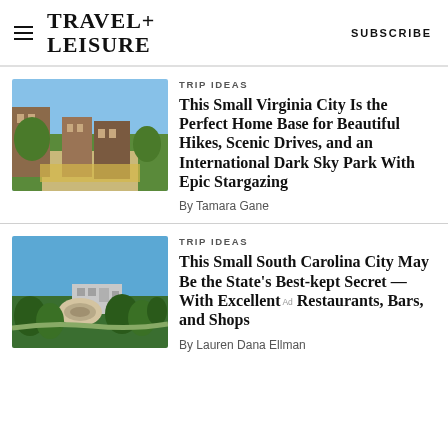TRAVEL+ LEISURE   SUBSCRIBE
TRIP IDEAS
This Small Virginia City Is the Perfect Home Base for Beautiful Hikes, Scenic Drives, and an International Dark Sky Park With Epic Stargazing
By Tamara Gane
TRIP IDEAS
This Small South Carolina City May Be the State's Best-kept Secret — With Excellent Restaurants, Bars, and Shops
By Lauren Dana Ellman